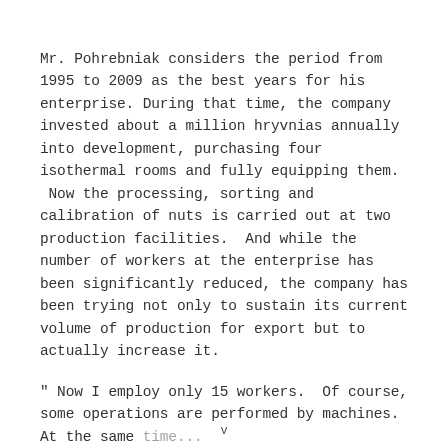Mr. Pohrebniak considers the period from 1995 to 2009 as the best years for his enterprise. During that time, the company invested about a million hryvnias annually into development, purchasing four isothermal rooms and fully equipping them.  Now the processing, sorting and calibration of nuts is carried out at two production facilities.  And while the number of workers at the enterprise has been significantly reduced, the company has been trying not only to sustain its current volume of production for export but to actually increase it.
" Now I employ only 15 workers.  Of course, some operations are performed by machines.  At the same time...
v